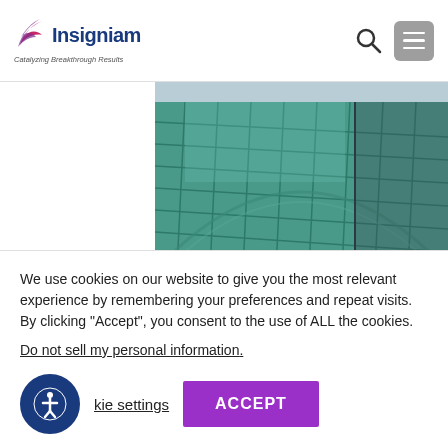[Figure (logo): Insigniam logo with wing graphic, tagline: Catalyzing Breakthrough Results]
[Figure (photo): Close-up of a curved green glass building facade with grid pattern]
Values determine choices and effective performance requires the
We use cookies on our website to give you the most relevant experience by remembering your preferences and repeat visits. By clicking “Accept”, you consent to the use of ALL the cookies.
Do not sell my personal information.
Cookie settings  ACCEPT